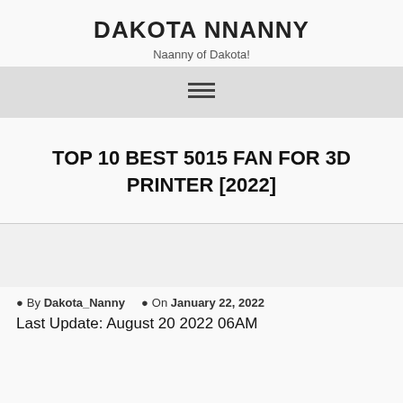DAKOTA NNANNY
Naanny of Dakota!
TOP 10 BEST 5015 FAN FOR 3D PRINTER [2022]
By Dakota_Nanny   On January 22, 2022
Last Update: August 20 2022 06AM